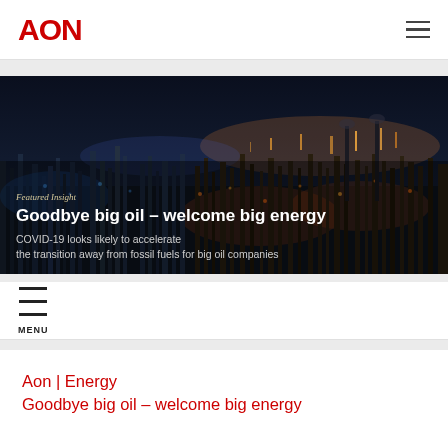AON
[Figure (photo): Aerial night-time photograph of a large industrial oil refinery complex illuminated by orange and blue lights, with smokestacks and pipes visible against a dark sky with a glowing city skyline in the background. Overlaid text reads 'Featured Insight / Goodbye big oil – welcome big energy / COVID-19 looks likely to accelerate the transition away from fossil fuels for big oil companies']
Aon | Energy
Goodbye big oil – welcome big energy